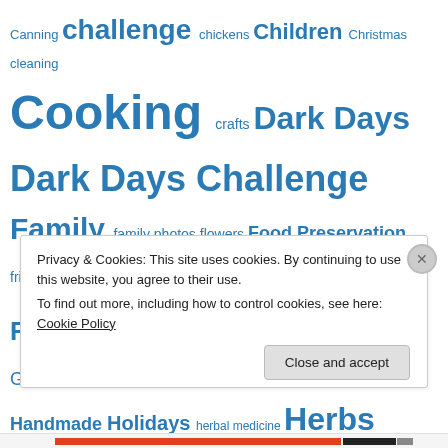[Figure (infographic): Tag cloud with terms related to homesteading/cooking blog: Canning, challenge, chickens, Children, Christmas, cleaning, Cooking, crafts, Dark Days, Dark Days Challenge, Family, family photos, flowers, Food Preservation, friends, frugal, Frugality, garden, Gardening, Gifts, handmade, Handmade, Holidays, herbal medicine, Herbs, holiday, holidays, homemade, homesteading, kids, knitting, Learning, local, Local Eating, local food, make your own, memories, Mushrooms, Nutrition, Old Ways, onions, peppers, photography]
Privacy & Cookies: This site uses cookies. By continuing to use this website, you agree to their use. To find out more, including how to control cookies, see here: Cookie Policy
Close and accept